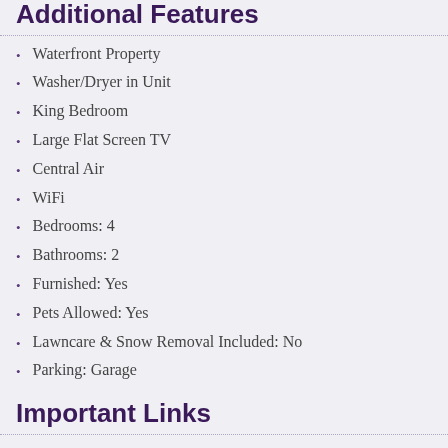Additional Features
Waterfront Property
Washer/Dryer in Unit
King Bedroom
Large Flat Screen TV
Central Air
WiFi
Bedrooms: 4
Bathrooms: 2
Furnished: Yes
Pets Allowed: Yes
Lawncare & Snow Removal Included: No
Parking: Garage
Important Links
Rates